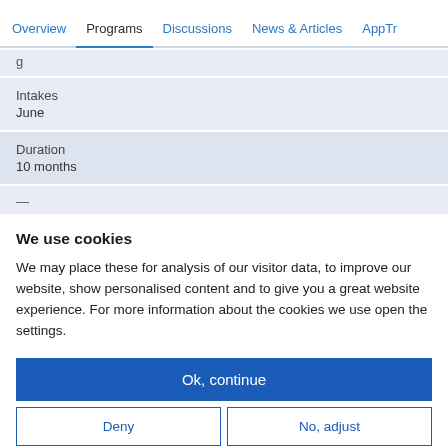Overview  Programs  Discussions  News & Articles  AppTr
g
| Intakes | June |
| Duration | 10 months |
We use cookies
We may place these for analysis of our visitor data, to improve our website, show personalised content and to give you a great website experience. For more information about the cookies we use open the settings.
Ok, continue
Deny
No, adjust